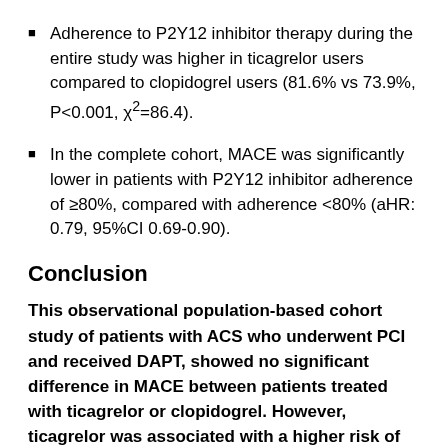Adherence to P2Y12 inhibitor therapy during the entire study was higher in ticagrelor users compared to clopidogrel users (81.6% vs 73.9%, P<0.001, χ²=86.4).
In the complete cohort, MACE was significantly lower in patients with P2Y12 inhibitor adherence of ≥80%, compared with adherence <80% (aHR: 0.79, 95%CI 0.69-0.90).
Conclusion
This observational population-based cohort study of patients with ACS who underwent PCI and received DAPT, showed no significant difference in MACE between patients treated with ticagrelor or clopidogrel. However, ticagrelor was associated with a higher risk of